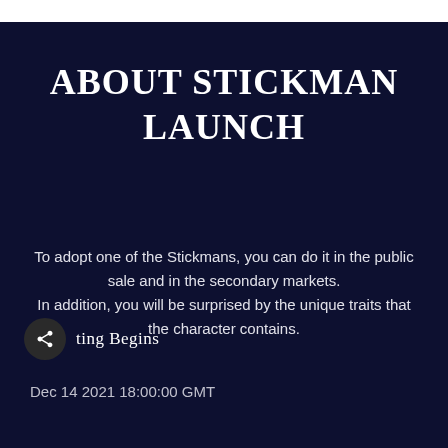About Stickman Launch
To adopt one of the Stickmans, you can do it in the public sale and in the secondary markets. In addition, you will be surprised by the unique traits that the character contains.
ting Begins
Dec 14 2021 18:00:00 GMT